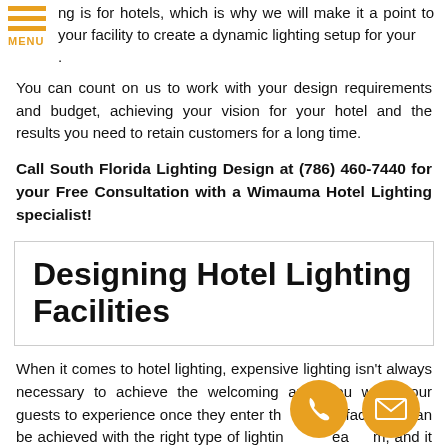ng is for hotels, which is why we will make it a point to your facility to create a dynamic lighting setup for your .
You can count on us to work with your design requirements and budget, achieving your vision for your hotel and the results you need to retain customers for a long time.
Call South Florida Lighting Design at (786) 460-7440 for your Free Consultation with a Wimauma Hotel Lighting specialist!
Designing Hotel Lighting Facilities
When it comes to hotel lighting, expensive lighting isn't always necessary to achieve the welcoming aura you want your guests to experience once they enter the facility. It can be achieved with the right type of lightingream, and it must be installed in a way that will allow people to